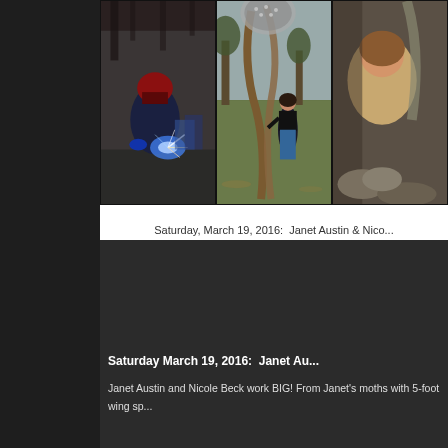[Figure (photo): Three photos side by side: left photo shows a welder working with bright welding sparks in a workshop, center photo shows a woman standing next to large metal sculptural artworks outdoors on a lawn, right photo is partially visible showing another person]
Saturday, March 19, 2016:  Janet Austin & Nico...
Saturday March 19, 2016:  Janet Au...
Janet Austin and Nicole Beck work BIG! From Janet's moths with 5-foot wing sp...